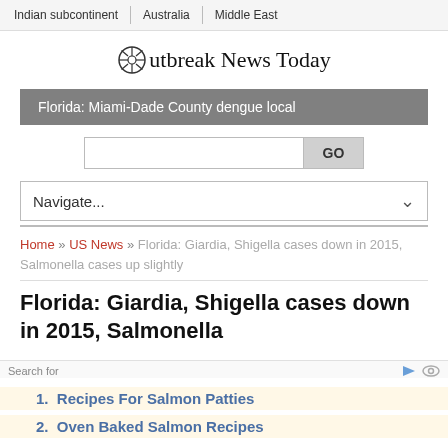Indian subcontinent | Australia | Middle East
Outbreak News Today
Florida: Miami-Dade County dengue local
Navigate...
Home » US News » Florida: Giardia, Shigella cases down in 2015, Salmonella cases up slightly
Florida: Giardia, Shigella cases down in 2015, Salmonella
Search for
1. Recipes For Salmon Patties
2. Oven Baked Salmon Recipes